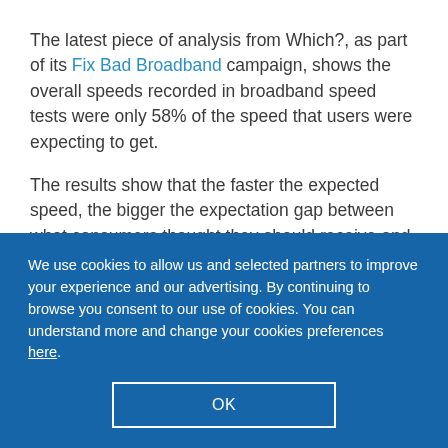The latest piece of analysis from Which?, as part of its Fix Bad Broadband campaign, shows the overall speeds recorded in broadband speed tests were only 58% of the speed that users were expecting to get.
The results show that the faster the expected speed, the bigger the expectation gap between what consumers thought they should receive and actual speed recorded in
We use cookies to allow us and selected partners to improve your experience and our advertising. By continuing to browse you consent to our use of cookies. You can understand more and change your cookies preferences here.